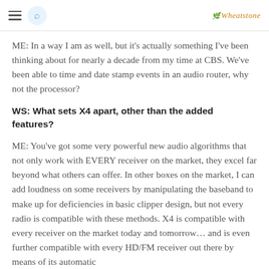[hamburger menu] [search] Wheatstone
ME: In a way I am as well, but it's actually something I've been thinking about for nearly a decade from my time at CBS. We've been able to time and date stamp events in an audio router, why not the processor?
WS: What sets X4 apart, other than the added features?
ME: You've got some very powerful new audio algorithms that not only work with EVERY receiver on the market, they excel far beyond what others can offer. In other boxes on the market, I can add loudness on some receivers by manipulating the baseband to make up for deficiencies in basic clipper design, but not every radio is compatible with these methods. X4 is compatible with every receiver on the market today and tomorrow… and is even further compatible with every HD/FM receiver out there by means of its automatic